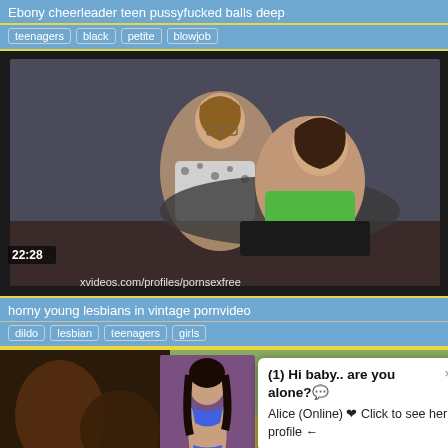Ebony cheerleader teen pussyfucked balls deep
teenagers  black  petite  blowjob
[Figure (photo): Video thumbnail showing two young women, duration 22:28, watermark xvideos.com/profiles/pornsexfree]
horny young lesbians in vintage pornvideo
dildo  lesbian  teenagers  girls
[Figure (photo): Popup overlay on video thumbnails: (1) Hi baby.. are you alone? Alice (Online) Click to see her profile]
(1) Hi baby.. are you alone?
Alice (Online) ❤ Click to see her profile ←